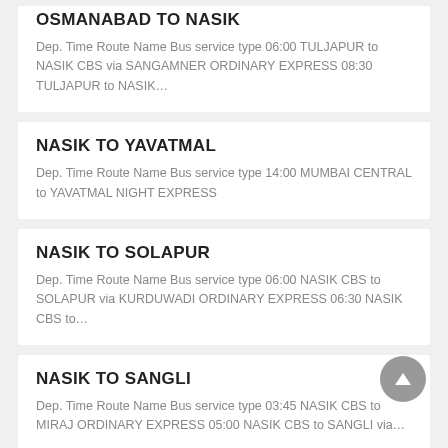OSMANABAD TO NASIK
Dep. Time Route Name Bus service type 06:00 TULJAPUR to NASIK CBS via SANGAMNER ORDINARY EXPRESS 08:30 TULJAPUR to NASIK…
NASIK TO YAVATMAL
Dep. Time Route Name Bus service type 14:00 MUMBAI CENTRAL to YAVATMAL NIGHT EXPRESS
NASIK TO SOLAPUR
Dep. Time Route Name Bus service type 06:00 NASIK CBS to SOLAPUR via KURDUWADI ORDINARY EXPRESS 06:30 NASIK CBS to…
NASIK TO SANGLI
Dep. Time Route Name Bus service type 03:45 NASIK CBS to MIRAJ ORDINARY EXPRESS 05:00 NASIK CBS to SANGLI via…